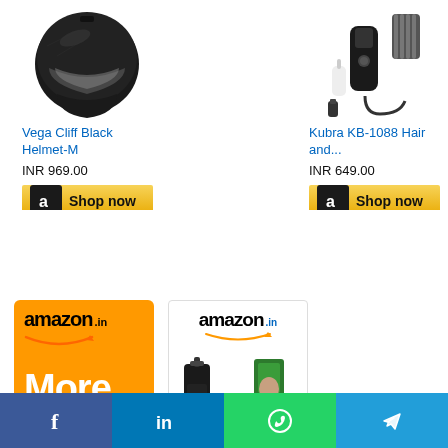[Figure (photo): Vega Cliff black full-face motorcycle helmet]
Vega Cliff Black Helmet-M
INR 969.00
[Figure (logo): Amazon Shop now button - gold background with Amazon 'a' logo]
[Figure (photo): Kubra KB-1088 Hair and beard trimmer kit with accessories]
Kubra KB-1088 Hair and...
INR 649.00
[Figure (logo): Amazon Shop now button - gold background with Amazon 'a' logo]
[Figure (logo): Amazon.in orange More.. panel]
[Figure (photo): Amazon.in product panel showing grooming products with man's face]
[Figure (logo): Social media share bar: Facebook, LinkedIn, WhatsApp, Telegram]